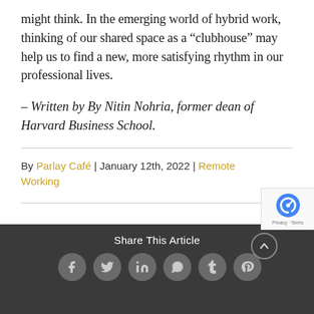might think. In the emerging world of hybrid work, thinking of our shared space as a “clubhouse” may help us to find a new, more satisfying rhythm in our professional lives.
– Written by By Nitin Nohria, former dean of Harvard Business School.
By Parlay Café | January 12th, 2022 | Remote Working
[Figure (infographic): Dark grey footer bar with 'Share This Article' text and social media icon circles for Facebook, Twitter, LinkedIn, WhatsApp, Tumblr, Pinterest, plus an up-arrow scroll button and reCAPTCHA badge.]